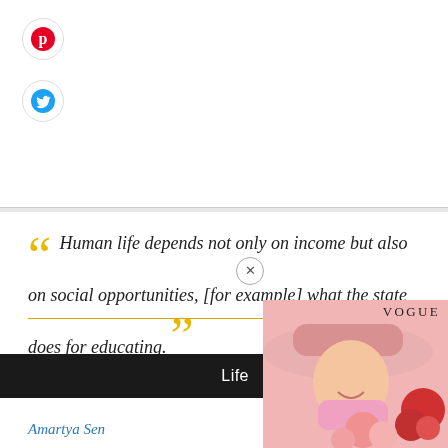[Figure (illustration): Pinterest social sharing icon (red circle with white P logo)]
[Figure (illustration): Twitter social sharing icon (blue circle with white bird logo)]
“ Human life depends not only on income but also on social opportunities, [for example] what the state does for educating. ”
Life
Amartya Sen
[Figure (photo): Vogue advertisement showing a woman in a pink wide-brim hat, pink scarf, holding pink and red flowers, with VOGUE text in upper right corner]